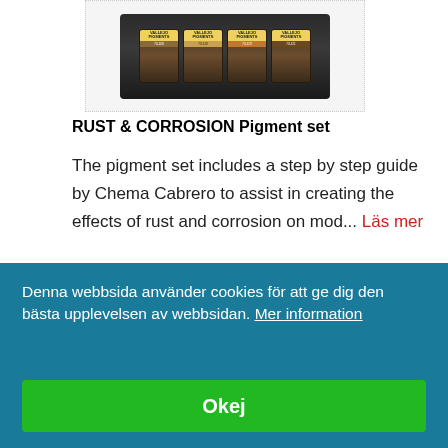[Figure (photo): Product image of Vallejo RUST & CORROSION Pigment set jars in a dotted border box]
RUST & CORROSION Pigment set
The pigment set includes a step by step guide by Chema Cabrero to assist in creating the effects of rust and corrosion on mod... Läs mer
[Figure (logo): Vallejo AV logo with black square and white AV letters, vallejo text below]
Denna webbsida använder cookies för att ge dig den bästa upplevelsen av webbsidan. Mer information
Okej